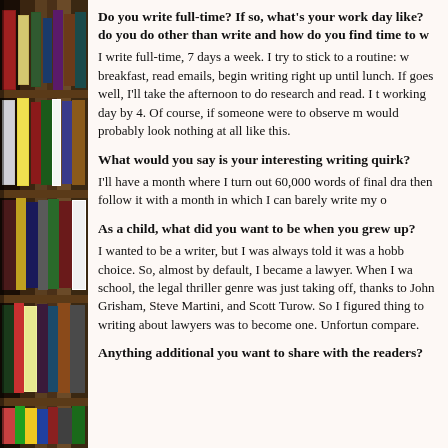[Figure (photo): Bookshelf with colorful book spines visible on the left side of the page]
Do you write full-time? If so, what's your work day like? do you do other than write and how do you find time to w
I write full-time, 7 days a week. I try to stick to a routine: w breakfast, read emails, begin writing right up until lunch. If goes well, I'll take the afternoon to do research and read. I t working day by 4. Of course, if someone were to observe m would probably look nothing at all like this.
What would you say is your interesting writing quirk?
I'll have a month where I turn out 60,000 words of final dra then follow it with a month in which I can barely write my o
As a child, what did you want to be when you grew up?
I wanted to be a writer, but I was always told it was a hobb choice. So, almost by default, I became a lawyer. When I wa school, the legal thriller genre was just taking off, thanks to John Grisham, Steve Martini, and Scott Turow. So I figured thing to writing about lawyers was to become one. Unfortun compare.
Anything additional you want to share with the readers?